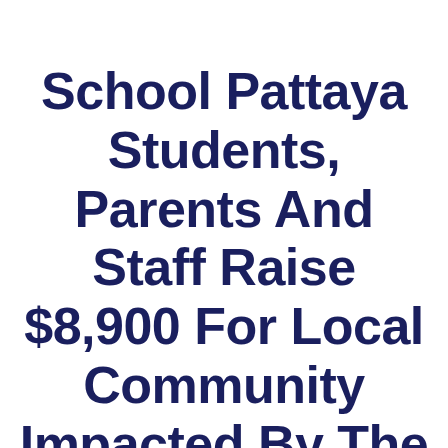School Pattaya Students, Parents And Staff Raise $8,900 For Local Community Impacted By The COVID-19 Pandemic In 2021